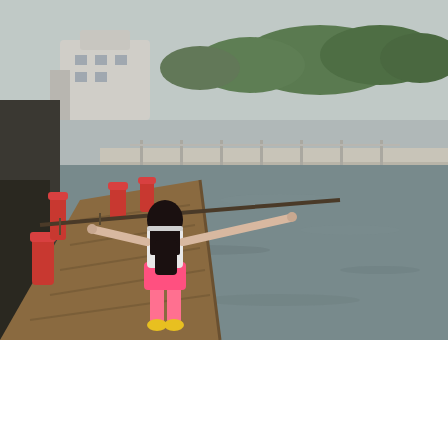[Figure (photo): A young woman with long black hair, wearing a white top, pink shorts, and yellow shoes, stands on a wooden boardwalk/dock with her arms outstretched holding a rope railing. The background shows a waterway, red bollards, a modern building, and trees under an overcast sky.]
Intan, 23
STIE PBM